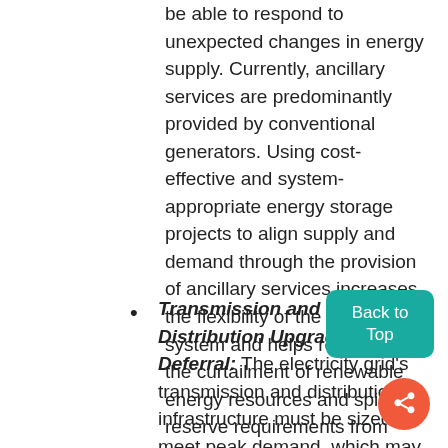be able to respond to unexpected changes in energy supply. Currently, ancillary services are predominantly provided by conventional generators. Using cost-effective and system-appropriate energy storage projects to align supply and demand through the provision of ancillary services increases the flexibility of the power system and helps reduce both the curtailment of renewable energy resources and spinning reserve requirements from conventional resources.
Transmission and Distribution Upgrade Deferral: The electricity grid's transmission and distribution infrastructure must be sized to meet peak demand, which may only occur over